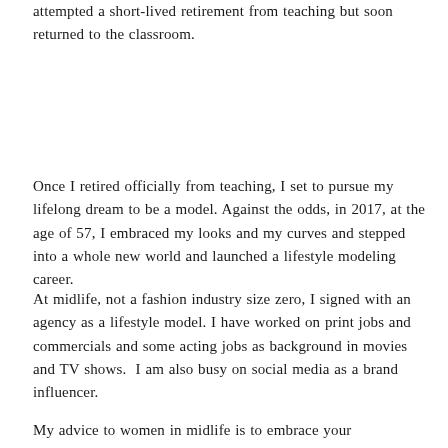holds me closer. We relocated to Los Angeles where I attempted a short-lived retirement from teaching but soon returned to the classroom.
Once I retired officially from teaching, I set to pursue my lifelong dream to be a model. Against the odds, in 2017, at the age of 57, I embraced my looks and my curves and stepped into a whole new world and launched a lifestyle modeling career.
At midlife, not a fashion industry size zero, I signed with an agency as a lifestyle model. I have worked on print jobs and commercials and some acting jobs as background in movies and TV shows.  I am also busy on social media as a brand influencer.
My advice to women in midlife is to embrace your